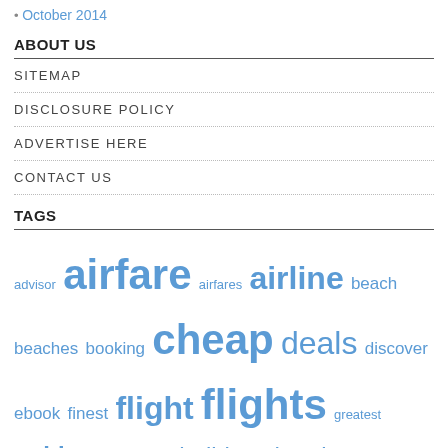October 2014
ABOUT US
SITEMAP
DISCLOSURE POLICY
ADVERTISE HERE
CONTACT US
TAGS
advisor airfare airfares airline beach beaches booking cheap deals discover ebook finest flight flights greatest guide guides holiday holidays hotels inclusive india information journey lodge lowcost lowest minute mountain offers online packages purchase reserving